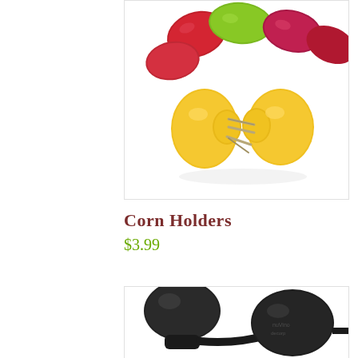[Figure (photo): Colorful corn cob holders in red, green, and pink with yellow double-pronged metal skewer holders]
Corn Holders
$3.99
[Figure (photo): Black rubber wine/bottle stoppers or caps, partially visible at bottom of page]